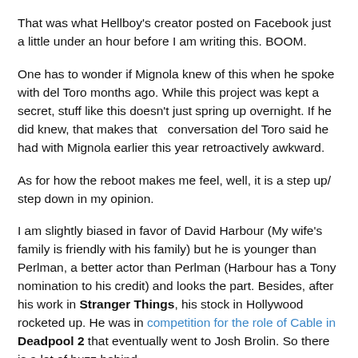That was what Hellboy's creator posted on Facebook just a little under an hour before I am writing this. BOOM.
One has to wonder if Mignola knew of this when he spoke with del Toro months ago. While this project was kept a secret, stuff like this doesn't just spring up overnight. If he did knew, that makes that   conversation del Toro said he had with Mignola earlier this year retroactively awkward.
As for how the reboot makes me feel, well, it is a step up/ step down in my opinion.
I am slightly biased in favor of David Harbour (My wife's family is friendly with his family) but he is younger than Perlman, a better actor than Perlman (Harbour has a Tony nomination to his credit) and looks the part. Besides, after his work in Stranger Things, his stock in Hollywood rocketed up. He was in competition for the role of Cable in Deadpool 2 that eventually went to Josh Brolin. So there is a lot of buzz behind